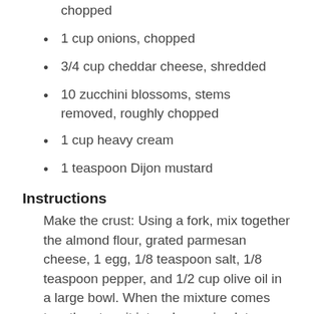chopped
1 cup onions, chopped
3/4 cup cheddar cheese, shredded
10 zucchini blossoms, stems removed, roughly chopped
1 cup heavy cream
1 teaspoon Dijon mustard
Instructions
Make the crust: Using a fork, mix together the almond flour, grated parmesan cheese, 1 egg, 1/8 teaspoon salt, 1/8 teaspoon pepper, and 1/2 cup olive oil in a large bowl. When the mixture comes together, turn it into a large pie plate or square baking dish, making sure the dough covers the bottom of the baking dish evenly and goes up the sides at least an inch. Set aside. Preheat the oven to 375 degrees F.
Cook the vegetables: Put remaining 2 Tablespoons olive oil in a large skillet over medium-high heat. Add the onions and...